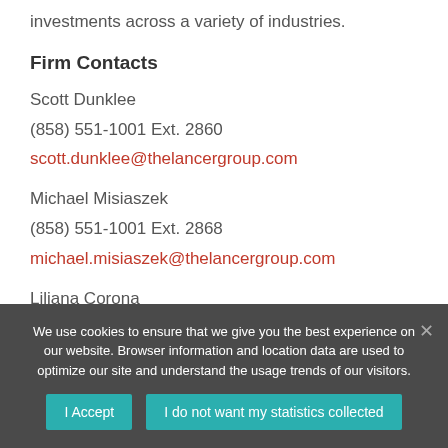investments across a variety of industries.
Firm Contacts
Scott Dunklee
(858) 551-1001 Ext. 2860
scott.dunklee@thelancergroup.com
Michael Misiaszek
(858) 551-1001 Ext. 2868
michael.misiaszek@thelancergroup.com
Liliana Corona
We use cookies to ensure that we give you the best experience on our website. Browser information and location data are used to optimize our site and understand the usage trends of our visitors.
I Accept
I do not want my statistics collected